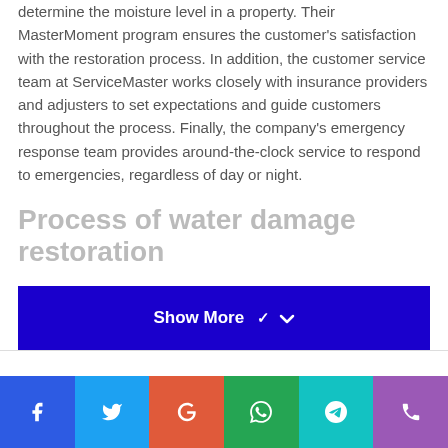determine the moisture level in a property. Their MasterMoment program ensures the customer's satisfaction with the restoration process. In addition, the customer service team at ServiceMaster works closely with insurance providers and adjusters to set expectations and guide customers throughout the process. Finally, the company's emergency response team provides around-the-clock service to respond to emergencies, regardless of day or night.
Process of water damage restoration
[Figure (other): Blue 'Show More' button with chevron arrow]
[Figure (other): Social media sharing bar with icons for Facebook, Twitter, Google, WhatsApp, Telegram, and phone/contact]